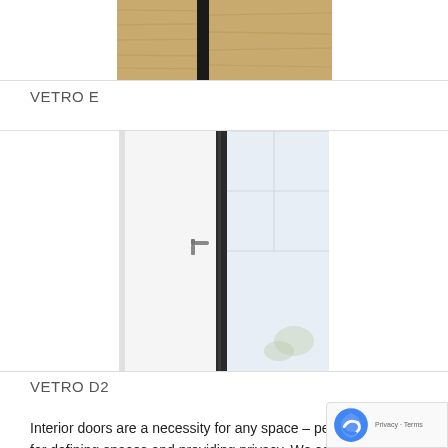[Figure (photo): Top portion of a door product photo (VETRO E) showing a wood-grain door with black vertical strip, cropped at top]
VETRO E
[Figure (photo): Interior door product photo (VETRO D2) showing a white door with narrow vertical glass strip and door handle, in a bright white room]
VETRO D2
Interior doors are a necessity for any space – per for defining spaces and providing privacy. We con function with personalized style for beautifully crafted